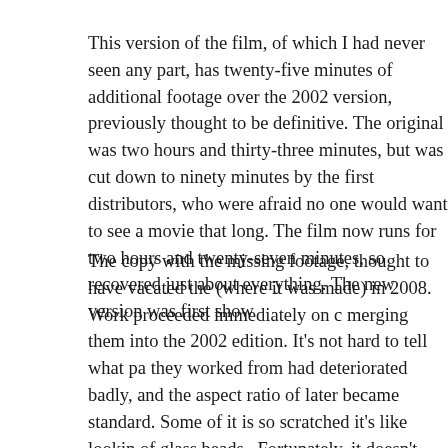This version of the film, of which I had never seen any part, has twenty-five minutes of additional footage over the 2002 version, previously thought to be definitive. The original was two hours and thirty-three minutes, but was cut down to ninety minutes by the first distributors, who were afraid no one would want to see a movie that long. The film now runs for two hours and twenty-seven minutes, so recovered just about everything. The new version was first show
The copy with the missing footage, thought to have vacated the (where it was made) in 2008. Work proceeded immediately on merging them into the 2002 edition. It's not hard to tell what pa they worked from had deteriorated badly, and the aspect ratio of later became standard. Some of it is so scratched it's like lookin of glass beads.  Fortunately, it doesn't take long to get used to th This has all been converted to digital format for distribution, of superb.